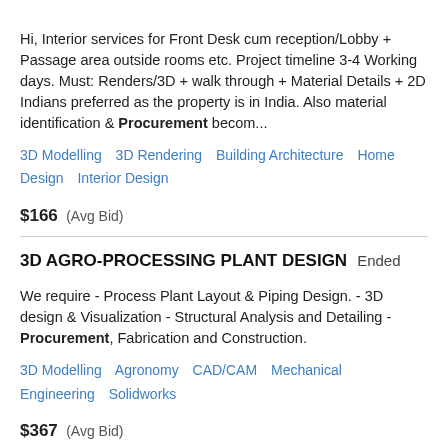Hi, Interior services for Front Desk cum reception/Lobby + Passage area outside rooms etc. Project timeline 3-4 Working days. Must: Renders/3D + walk through + Material Details + 2D Indians preferred as the property is in India. Also material identification & Procurement becom...
3D Modelling   3D Rendering   Building Architecture   Home Design   Interior Design
$166  (Avg Bid)
3D AGRO-PROCESSING PLANT DESIGN   Ended
We require - Process Plant Layout & Piping Design. - 3D design & Visualization - Structural Analysis and Detailing - Procurement, Fabrication and Construction.
3D Modelling   Agronomy   CAD/CAM   Mechanical Engineering   Solidworks
$367  (Avg Bid)